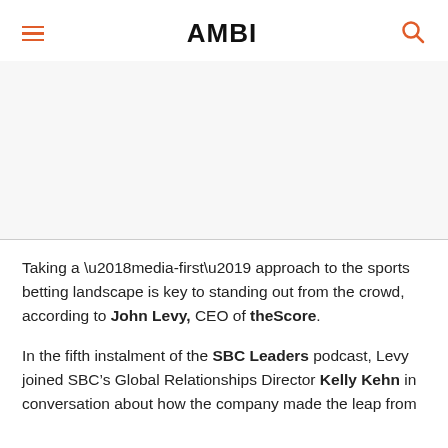AMBI
[Figure (photo): Large image placeholder area (article hero image, mostly white/light)]
Taking a ‘media-first’ approach to the sports betting landscape is key to standing out from the crowd, according to John Levy, CEO of theScore.
In the fifth instalment of the SBC Leaders podcast, Levy joined SBC’s Global Relationships Director Kelly Kehn in conversation about how the company made the leap from